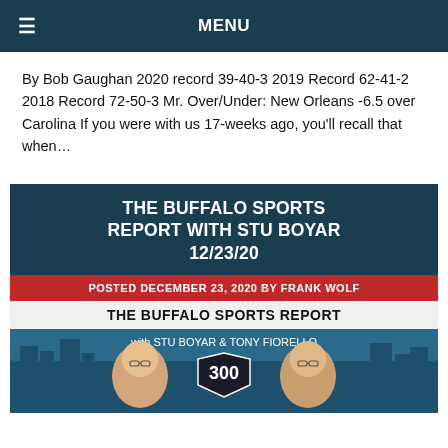≡  MENU
By Bob Gaughan 2020 record 39-40-3 2019 Record 62-41-2 2018 Record 72-50-3 Mr. Over/Under: New Orleans -6.5 over Carolina If you were with us 17-weeks ago, you'll recall that when…
THE BUFFALO SPORTS REPORT WITH STU BOYAR 12/23/20
POSTED DECEMBER 23, 2020 BY FRANK WOLF
[Figure (illustration): The Buffalo Sports Report podcast artwork showing two illustrated hosts Stu Boyar and Tony Fiorello with '300' shield logo in the center, set against a Buffalo city skyline background.]